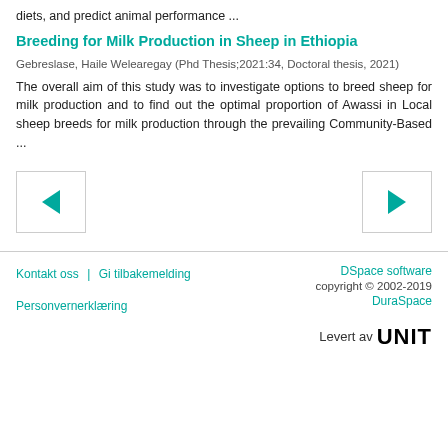diets, and predict animal performance ...
Breeding for Milk Production in Sheep in Ethiopia
Gebreslase, Haile Welearegay (Phd Thesis;2021:34, Doctoral thesis, 2021)
The overall aim of this study was to investigate options to breed sheep for milk production and to find out the optimal proportion of Awassi in Local sheep breeds for milk production through the prevailing Community-Based ...
[Figure (other): Navigation buttons: left arrow (back) and right arrow (forward)]
Kontakt oss | Gi tilbakemelding | DSpace software copyright © 2002-2019 DuraSpace | Personvernerklæring | Levert av UNIT